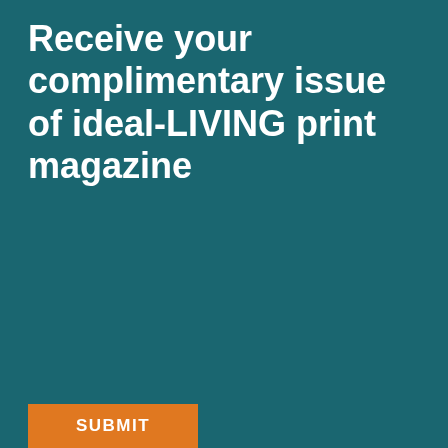Receive your complimentary issue of ideal-LIVING print magazine
[Figure (other): Web form with fields: First Name*, Last Name*, Street Address*, Zip*, Email*, Phone, and a SUBMIT button on a teal background. A scroll-up button (caret icon) appears on the right side.]